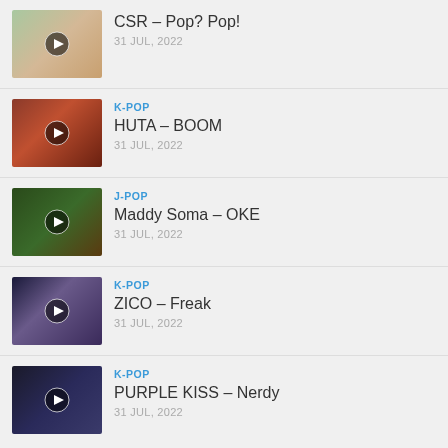CSR – Pop? Pop! | 31 JUL, 2022
K-POP | HUTA – BOOM | 31 JUL, 2022
J-POP | Maddy Soma – OKE | 31 JUL, 2022
K-POP | ZICO – Freak | 31 JUL, 2022
K-POP | PURPLE KISS – Nerdy | 31 JUL, 2022